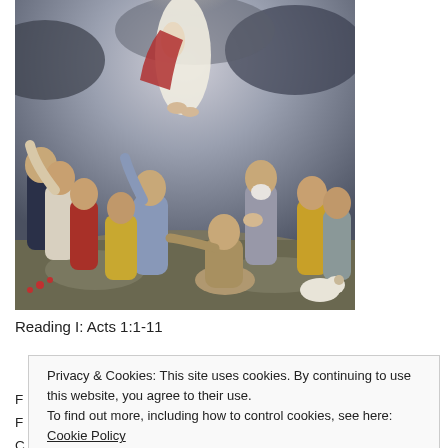[Figure (illustration): Religious painting depicting the Ascension of Jesus Christ. Several disciples stand on the ground looking upward with arms raised, while a figure in white and red robes ascends into cloudy skies above them.]
Reading I: Acts 1:1-11
F
F
C
Privacy & Cookies: This site uses cookies. By continuing to use this website, you agree to their use.
To find out more, including how to control cookies, see here: Cookie Policy
Close and accept